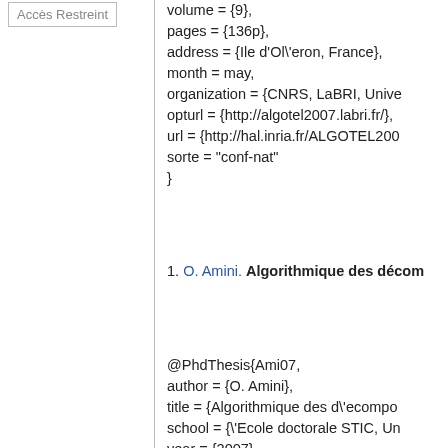Accès Restreint
volume = {9},
pages = {136p},
address = {Ile d'Ol\'eron, France},
month = may,
organization = {CNRS, LaBRI, Unive
opturl = {http://algotel2007.labri.fr/},
url = {http://hal.inria.fr/ALGOTEL200
sorte = "conf-nat"
}
1. O. Amini. Algorithmique des décom
@PhdThesis{Ami07,
author = {O. Amini},
title = {Algorithmique des d\'ecompo
school = {\'Ecole doctorale STIC, Un
year = {2007}